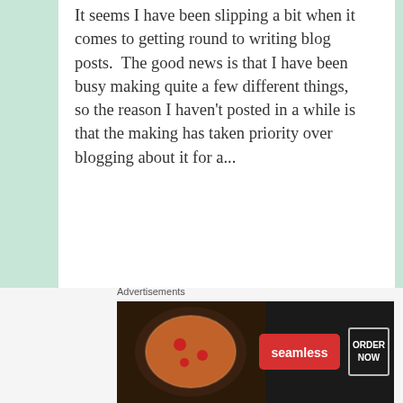It seems I have been slipping a bit when it comes to getting round to writing blog posts.  The good news is that I have been busy making quite a few different things, so the reason I haven't posted in a while is that the making has taken priority over blogging about it for a...
October 11, 2012 in Recipes.
Almond, Orange, and Choc Chip Muffins
I was the slipping about to be in...
Advertisements
[Figure (other): Seamless food delivery advertisement showing pizza image on left, seamless red badge in center, and ORDER NOW button on right against dark background]